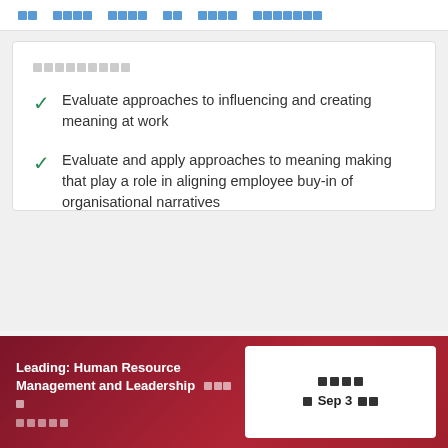□□ □□□□ □□□□ □□ □□□□ □□□□□□□
□□□□□□□□□
Evaluate approaches to influencing and creating meaning at work
Evaluate and apply approaches to meaning making that play a role in aligning employee buy-in of organisational narratives
Evaluate, create and apply strategies to leverage meaning making through branding
Leading: Human Resource Management and Leadership □□□□ □□□□□
□ Sep 3 □□